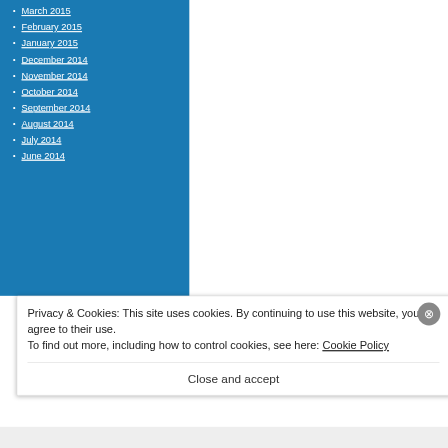March 2015
February 2015
January 2015
December 2014
November 2014
October 2014
September 2014
August 2014
July 2014
June 2014
Privacy & Cookies: This site uses cookies. By continuing to use this website, you agree to their use.
To find out more, including how to control cookies, see here: Cookie Policy
Close and accept